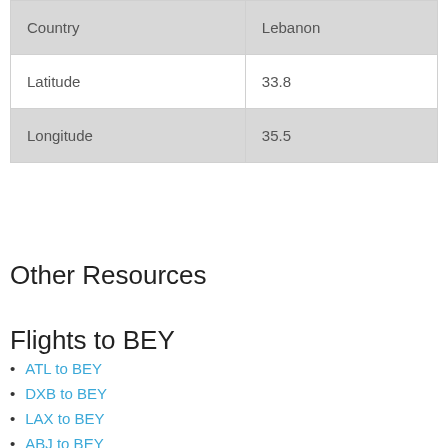| Country | Lebanon |
| Latitude | 33.8 |
| Longitude | 35.5 |
Other Resources
Flights to BEY
ATL to BEY
DXB to BEY
LAX to BEY
ABJ to BEY
MSP to BEY